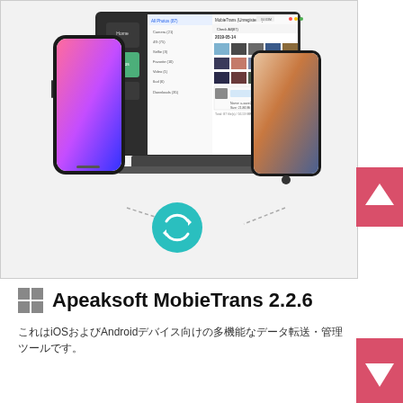[Figure (screenshot): Screenshot of Apeaksoft MobieTrans software interface showing photo management between iPhone and Android devices connected to a PC. A laptop displays a photo library with multiple images organized in a grid. An iPhone X is shown on the left and an Android phone on the right. A teal circular sync/refresh icon appears at the bottom center of the device arrangement. Navigation arrows (up/down) appear on the right edge.]
Apeaksoft MobieTrans 2.2.6
これはiOSおよびAndroidデバイス向けの多機能なデータ転送・管理ツールです。